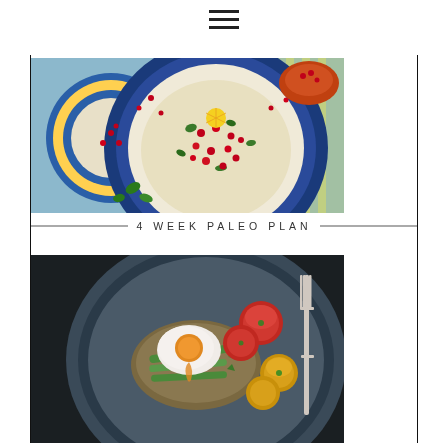☰ (hamburger menu icon)
[Figure (photo): Overhead shot of a blue plate with cauliflower tabbouleh topped with pomegranate seeds, herbs, lemon slices, and other garnishes on a light blue wooden surface]
4 WEEK PALEO PLAN
[Figure (photo): A dark blue-grey plate with a poached egg on top of a grain patty with asparagus, roasted tomatoes (red and yellow), and a silver fork on a dark background]